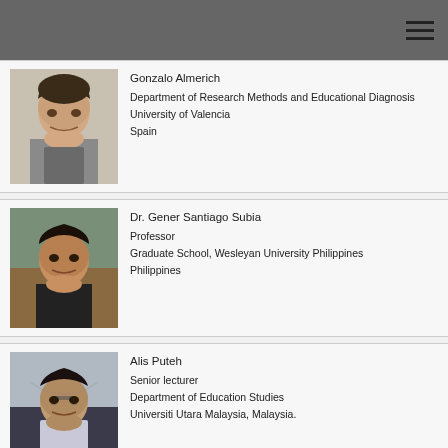[Figure (photo): Headshot of Gonzalo Almerich, a middle-aged man]
Gonzalo Almerich
Department of Research Methods and Educational Diagnosis
University of Valencia
Spain
[Figure (photo): Photo of Dr. Gener Santiago Subia seated at a table]
Dr. Gener Santiago Subia
Professor
Graduate School, Wesleyan University Philippines
Philippines
[Figure (photo): Headshot of Alis Puteh, a man wearing glasses]
Alis Puteh
Senior lecturer
Department of Education Studies
Universiti Utara Malaysia, Malaysia.
[Figure (photo): Partial photo of Suhail Abboushi]
Suhail Abboushi